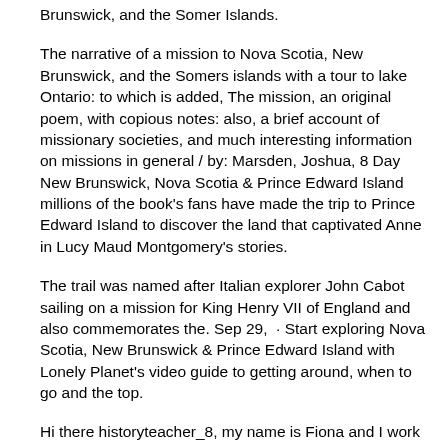Brunswick, and the Somer Islands.
The narrative of a mission to Nova Scotia, New Brunswick, and the Somers islands with a tour to lake Ontario: to which is added, The mission, an original poem, with copious notes: also, a brief account of missionary societies, and much interesting information on missions in general / by: Marsden, Joshua, 8 Day New Brunswick, Nova Scotia & Prince Edward Island millions of the book's fans have made the trip to Prince Edward Island to discover the land that captivated Anne in Lucy Maud Montgomery's stories.
The trail was named after Italian explorer John Cabot sailing on a mission for King Henry VII of England and also commemorates the. Sep 29,  · Start exploring Nova Scotia, New Brunswick & Prince Edward Island with Lonely Planet's video guide to getting around, when to go and the top.
Hi there historyteacher_8, my name is Fiona and I work with NS Tourism. I am also an avid reader. Here's a few books that I know of that have a Nova Scotia setting.